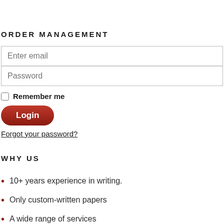ORDER MANAGEMENT
Enter email
Password
Remember me
Login
Forgot your password?
WHY US
10+ years experience in writing.
Only custom-written papers
A wide range of services